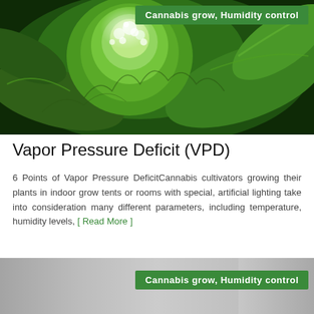[Figure (photo): Close-up photo of a cannabis plant flower/bud with green leaves and white trichomes, with a green badge overlay reading 'Cannabis grow, Humidity control']
Vapor Pressure Deficit (VPD)
6 Points of Vapor Pressure DeficitCannabis cultivators growing their plants in indoor grow tents or rooms with special, artificial lighting take into consideration many different parameters, including temperature, humidity levels, [ Read More ]
[Figure (photo): Partial photo of a second article image (gray/muted tones) with a green badge overlay reading 'Cannabis grow, Humidity control']